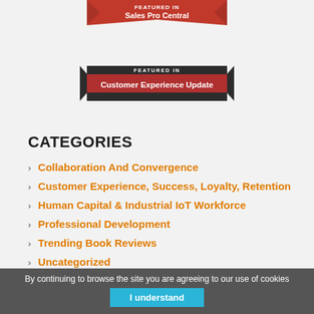[Figure (logo): Red ribbon banner with white text 'Sales Pro Central']
[Figure (logo): Dark ribbon banner with 'FEATURED IN' in small text above and 'Customer Experience Update' in white text]
CATEGORIES
Collaboration And Convergence
Customer Experience, Success, Loyalty, Retention
Human Capital & Industrial IoT Workforce
Professional Development
Trending Book Reviews
Uncategorized
By continuing to browse the site you are agreeing to our use of cookies
I understand